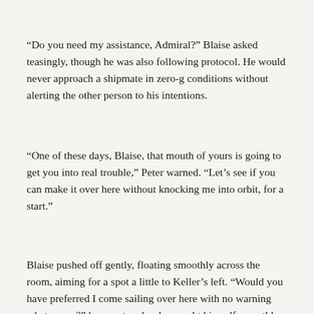“Do you need my assistance, Admiral?” Blaise asked teasingly, though he was also following protocol. He would never approach a shipmate in zero-g conditions without alerting the other person to his intentions.
“One of these days, Blaise, that mouth of yours is going to get you into real trouble,” Peter warned. “Let’s see if you can make it over here without knocking me into orbit, for a start.”
Blaise pushed off gently, floating smoothly across the room, aiming for a spot a little to Keller’s left. “Would you have preferred I come sailing over here with no warning whatsoever?” he countered as he caught himself smoothly